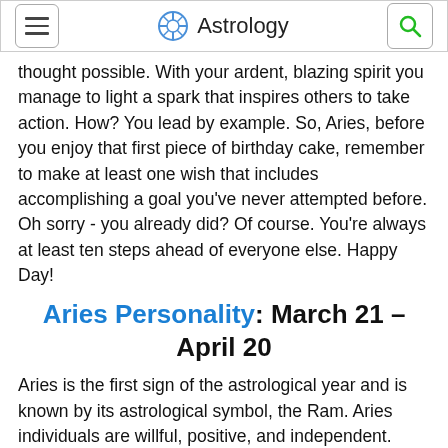Astrology
thought possible. With your ardent, blazing spirit you manage to light a spark that inspires others to take action. How? You lead by example. So, Aries, before you enjoy that first piece of birthday cake, remember to make at least one wish that includes accomplishing a goal you've never attempted before. Oh sorry - you already did? Of course. You're always at least ten steps ahead of everyone else. Happy Day!
Aries Personality: March 21 – April 20
Aries is the first sign of the astrological year and is known by its astrological symbol, the Ram. Aries individuals are willful, positive, and independent. People born under this sign have amazing stamina and a potent drive to succeed. As the first sign in the zodiac, the presence of Aries almost always marks the beginning of something energetic and